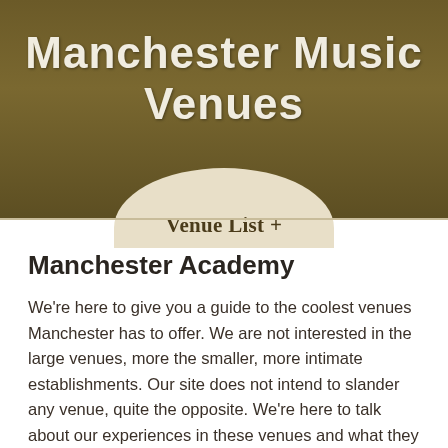Manchester Music Venues
Venue List +
Manchester Academy
We're here to give you a guide to the coolest venues Manchester has to offer. We are not interested in the large venues, more the smaller, more intimate establishments. Our site does not intend to slander any venue, quite the opposite. We're here to talk about our experiences in these venues and what they have to offer. We give the pros and cons, if we don't like a venue then we won't talk about it on this site.